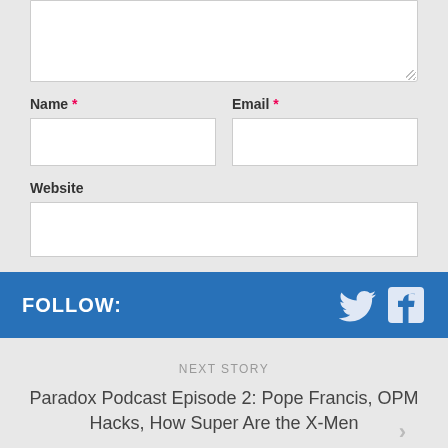[Figure (screenshot): Partial textarea input box at the top of a comment form, with resize handle in bottom-right corner]
Name *
[Figure (screenshot): Name text input field (empty)]
Email *
[Figure (screenshot): Email text input field (empty)]
Website
[Figure (screenshot): Website text input field (empty)]
[Figure (screenshot): Post Comment button in blue]
FOLLOW:
[Figure (screenshot): Twitter and Facebook social media icons in white on blue bar]
NEXT STORY
Paradox Podcast Episode 2: Pope Francis, OPM Hacks, How Super Are the X-Men